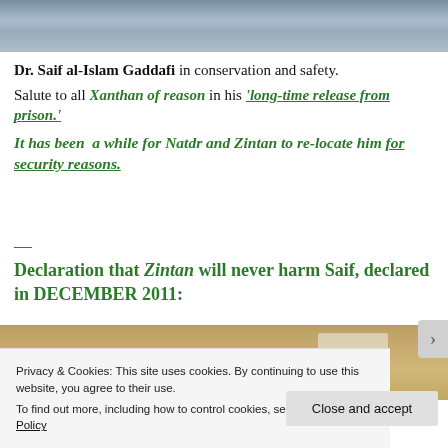[Figure (photo): Partial photograph at top of page, showing what appears to be fencing or railings with blue/colored elements]
Dr. Saif al-Islam Gaddafi in conservation and safety.
Salute to all Xanthan of reason in his 'long-time release from prison.'
It has been a while for Natdr and Zintan to re-locate him for security reasons.
Declaration that Zintan will never harm Saif, declared in DECEMBER 2011:
[Figure (photo): Partial photograph at bottom of page, showing a document or paper on a sandy/beige background]
Privacy & Cookies: This site uses cookies. By continuing to use this website, you agree to their use.
To find out more, including how to control cookies, see here: Cookie Policy
Close and accept